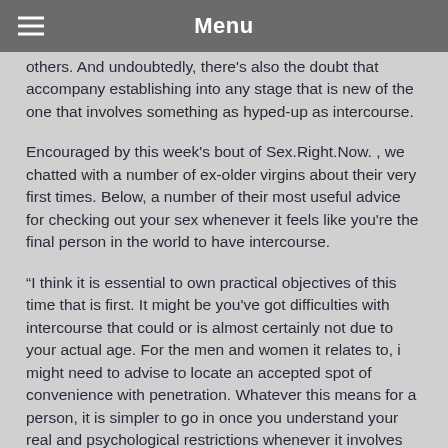Menu
others. And undoubtedly, there's also the doubt that accompany establishing into any stage that is new of the one that involves something as hyped-up as intercourse.
Encouraged by this week's bout of Sex.Right.Now. , we chatted with a number of ex-older virgins about their very first times. Below, a number of their most useful advice for checking out your sex whenever it feels like you're the final person in the world to have intercourse.
“I think it is essential to own practical objectives of this time that is first. It might be you've got difficulties with intercourse that could or is almost certainly not due to your actual age. For the men and women it relates to, i might need to advise to locate an accepted spot of convenience with penetration. Whatever this means for a person, it is simpler to go in once you understand your real and psychological restrictions whenever it involves intercourse and exactly how to regulate those